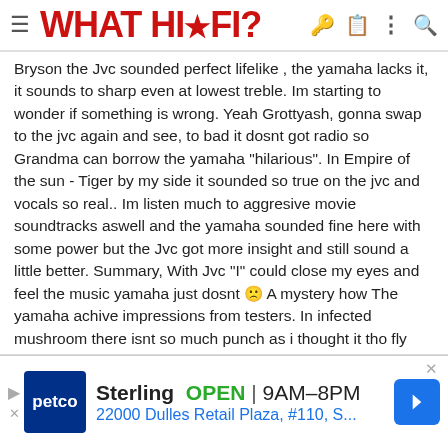WHAT HI-FI?
Bryson the Jvc sounded perfect lifelike , the yamaha lacks it, it sounds to sharp even at lowest treble. Im starting to wonder if something is wrong. Yeah Grottyash, gonna swap to the jvc again and see, to bad it dosnt got radio so Grandma can borrow the yamaha "hilarious". In Empire of the sun - Tiger by my side it sounded so true on the jvc and vocals so real.. Im listen much to aggresive movie soundtracks aswell and the yamaha sounded fine here with some power but the Jvc got more insight and still sound a little better. Summary, With Jvc "I" could close my eyes and feel the music yamaha just dosnt 🙁 A mystery how The yamaha achive impressions from testers. In infected mushroom there isnt so much punch as i thought it tho fly very much air (3-4m) from the bassreflex, the bass distors quite fast and the grip is lost but i think its the woofers limit rather then the amps power even tho the speakers handling rate is at 120w? think i wasnt that far from plop
[Figure (screenshot): Petco advertisement banner showing Sterling store location, OPEN 9AM-8PM, address 22000 Dulles Retail Plaza, #110, S...]